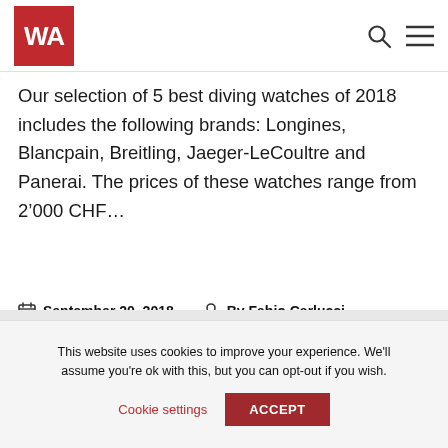WA
Our selection of 5 best diving watches of 2018 includes the following brands: Longines, Blancpain, Breitling, Jaeger-LeCoultre and Panerai. The prices of these watches range from 2’000 CHF…
September 20, 2018  By Fabio Carlucci
In Video
This website uses cookies to improve your experience. We’ll assume you’re ok with this, but you can opt-out if you wish.
Cookie settings  ACCEPT